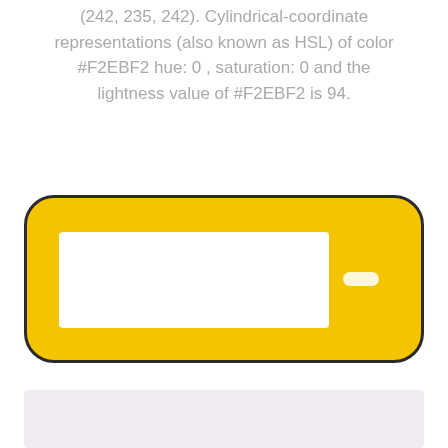(242, 235, 242). Cylindrical-coordinate representations (also known as HSL) of color #F2EBF2 hue: 0 , saturation: 0 and the lightness value of #F2EBF2 is 94.
[Figure (other): A yellow rounded rectangle UI element containing a white rectangular input area on the left and a small white pill/button on the right, outlined with a dark border.]
[Figure (other): A light lavender/pink colored rectangle swatch representing color #F2EBF2.]